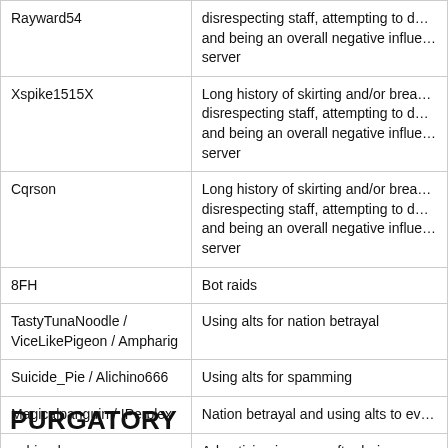| Username | Reason |
| --- | --- |
| Rayward54 | disrespecting staff, attempting to d… and being an overall negative influe… server |
| Xspike1515X | Long history of skirting and/or brea… disrespecting staff, attempting to d… and being an overall negative influe… server |
| Cqrson | Long history of skirting and/or brea… disrespecting staff, attempting to d… and being an overall negative influe… server |
| 8FH | Bot raids |
| TastyTunaNoodle / ViceLikePigeon / Ampharig | Using alts for nation betrayal |
| Suicide_Pie / Alichino666 | Using alts for spamming |
| Magicalpanguin / IPerplex | Nation betrayal and using alts to ev… |
| gabi_eden | Advertising in-game after being wa… |
| EnderGames_YT | Spam-advertising in-game |
PURGATORY